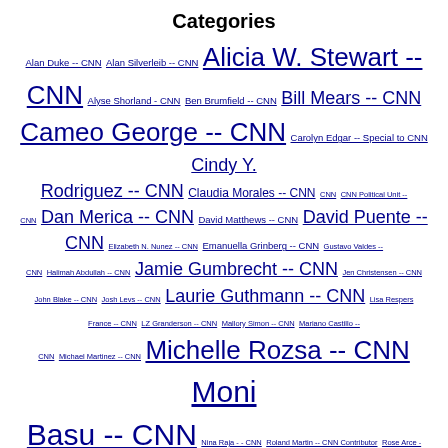Categories
Alan Duke -- CNN Alan Silverleib -- CNN Alicia W. Stewart -- CNN Alyse Shorland - CNN Ben Brumfield -- CNN Bill Mears -- CNN Cameo George -- CNN Carolyn Edgar -- Special to CNN Cindy Y. Rodriguez -- CNN Claudia Morales -- CNN CNN CNN Political Unit -- CNN Dan Merica -- CNN David Matthews -- CNN David Puente -- CNN Elizabeth N. Nunez -- CNN Emanuella Grinberg -- CNN Gustavo Valdes -- CNN Halimah Abdullah -- CNN Jamie Gumbrecht -- CNN Jen Christensen -- CNN John Blake -- CNN Josh Levs -- CNN Laurie Guthmann -- CNN Lisa Respers France -- CNN LZ Granderson -- CNN Mallory Simon -- CNN Mariano Castillo -- CNN Michael Martinez -- CNN Michelle Rozsa -- CNN Moni Basu -- CNN Nina Raja - - CNN Roland Martin -- CNN Contributor Rose Arce -- CNN Ruben Navarrette Jr. -- CNN Contributor Sarah Springer -- CNN Sari Zeidler -- CNN Sonya Hamasaki -- CNN Staff -- CNN Staff -- CNN Wire Stephanie Siek -- CNN Susan Bodnar -- Special to CNN Tami Luhby -- CNNMoney The Editors -- CNN In America Tom Cohen -- CNN